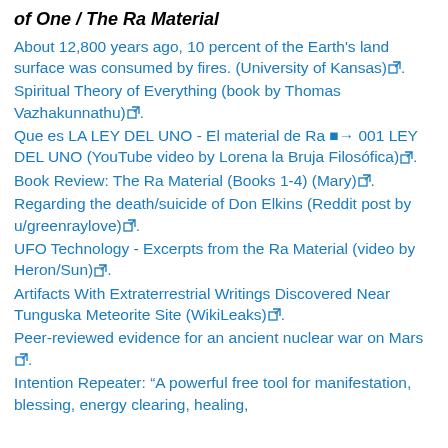of One / The Ra Material
About 12,800 years ago, 10 percent of the Earth's land surface was consumed by fires. (University of Kansas) [ext].
Spiritual Theory of Everything (book by Thomas Vazhakunnathu) [ext].
Que es LA LEY DEL UNO - El material de Ra ⬛→ 001 LEY DEL UNO (YouTube video by Lorena la Bruja Filosófica) [ext].
Book Review: The Ra Material (Books 1-4) (Mary) [ext].
Regarding the death/suicide of Don Elkins (Reddit post by u/greenraylove) [ext].
UFO Technology - Excerpts from the Ra Material (video by Heron/Sun) [ext].
Artifacts With Extraterrestrial Writings Discovered Near Tunguska Meteorite Site (WikiLeaks) [ext].
Peer-reviewed evidence for an ancient nuclear war on Mars [ext].
Intention Repeater: “A powerful free tool for manifestation, blessing, energy clearing, healing,